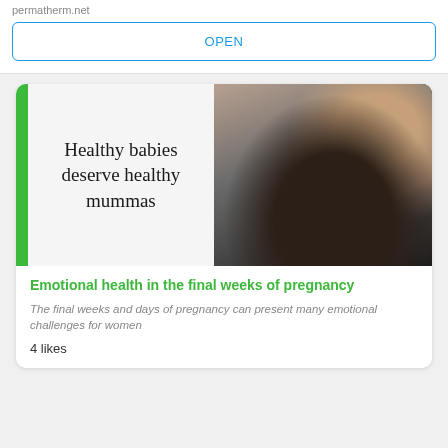permatherm.net
OPEN
[Figure (photo): Promotional card image showing a pregnant woman's belly with hands resting on it, wearing bracelets and black clothing, with text overlay 'Healthy babies deserve healthy mummas' on a light panel, green vertical bar on left edge]
Emotional health in the final weeks of pregnancy
The final weeks and days of pregnancy can present many emotional challenges for women
4 likes